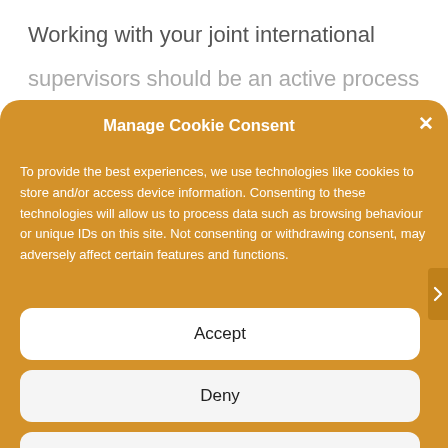Working with your joint international supervisors should be an active process and
Manage Cookie Consent
To provide the best experiences, we use technologies like cookies to store and/or access device information. Consenting to these technologies will allow us to process data such as browsing behaviour or unique IDs on this site. Not consenting or withdrawing consent, may adversely affect certain features and functions.
Accept
Deny
View preferences
Cookie Policy  Privacy